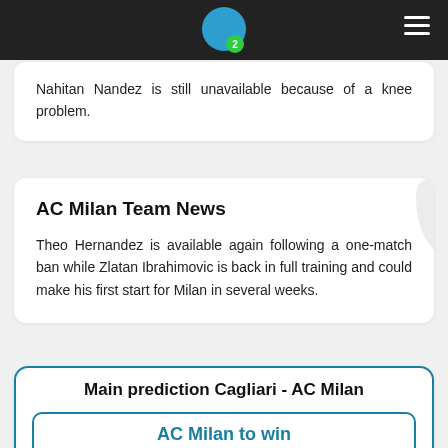Navigation bar with logo and menu icon
Nahitan Nandez is still unavailable because of a knee problem.
AC Milan Team News
Theo Hernandez is available again following a one-match ban while Zlatan Ibrahimovic is back in full training and could make his first start for Milan in several weeks.
Main prediction Cagliari - AC Milan
AC Milan to win
By Ryan Allan